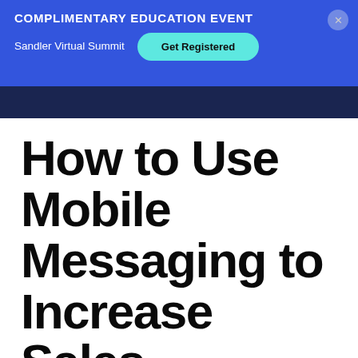COMPLIMENTARY EDUCATION EVENT
Sandler Virtual Summit
Get Registered
How to Use Mobile Messaging to Increase Sales